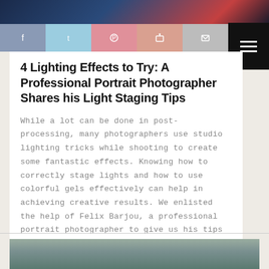[Figure (photo): Top banner image with dark blue and red tones, partial portrait photo]
[Figure (infographic): Social sharing bar with icons for Facebook, Twitter, Pinterest, Google+, and Email, plus hamburger menu button]
4 Lighting Effects to Try: A Professional Portrait Photographer Shares his Light Staging Tips
While a lot can be done in post-processing, many photographers use studio lighting tricks while shooting to create some fantastic effects. Knowing how to correctly stage lights and how to use colorful gels effectively can help in achieving creative results. We enlisted the help of Felix Barjou, a professional portrait photographer to give us his tips on lighting and color. See how to get his results below and don't forget to check out his amazing light and color setup at the end.
[Figure (photo): Bottom preview of portrait photo showing top of a person's head with dark hair against a grey background]